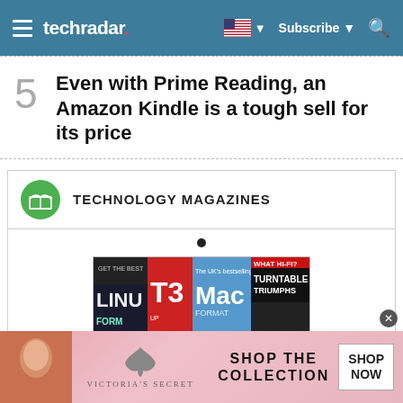techradar | Subscribe
5 Even with Prime Reading, an Amazon Kindle is a tough sell for its price
TECHNOLOGY MAGAZINES
[Figure (photo): Magazine covers carousel showing Linux Format, T3, Mac Format, What Hi-Fi? and other technology magazines]
[Figure (photo): Victoria's Secret advertisement banner with model photo, logo, and 'SHOP THE COLLECTION' text with 'SHOP NOW' button]